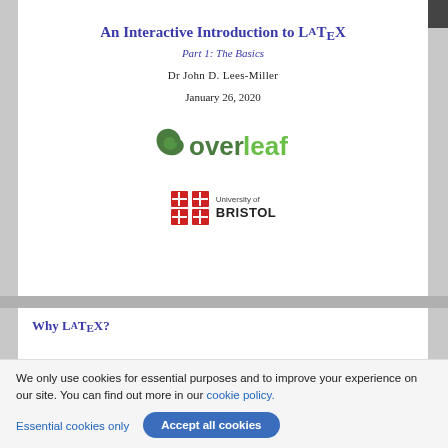An Interactive Introduction to LaTeX
Part 1: The Basics
Dr John D. Lees-Miller
January 26, 2020
[Figure (logo): Overleaf logo — green leaf with 'overleaf' text]
[Figure (logo): University of Bristol logo — red crest with 'University of BRISTOL' text]
Why LaTeX?
It makes beautiful documents
Especially mathematics
We only use cookies for essential purposes and to improve your experience on our site. You can find out more in our cookie policy.
Essential cookies only
Accept all cookies